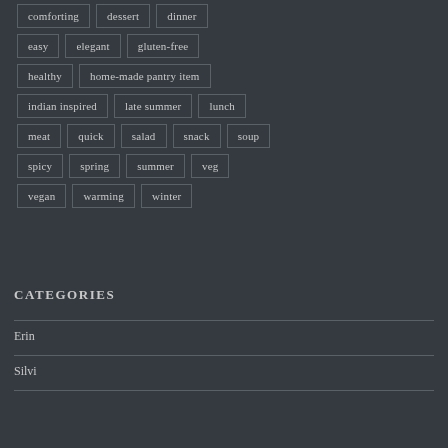comforting
dessert
dinner
easy
elegant
gluten-free
healthy
home-made pantry item
indian inspired
late summer
lunch
meat
quick
salad
snack
soup
spicy
spring
summer
veg
vegan
warming
winter
CATEGORIES
Erin
Silvi